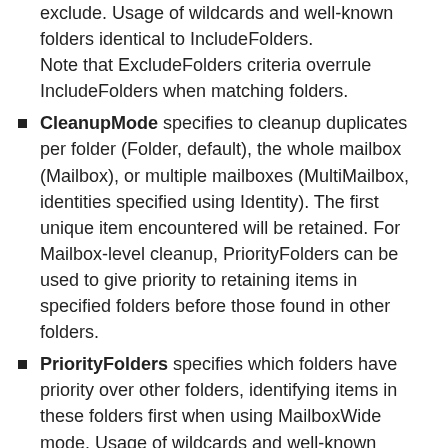exclude. Usage of wildcards and well-known folders identical to IncludeFolders. Note that ExcludeFolders criteria overrule IncludeFolders when matching folders.
CleanupMode specifies to cleanup duplicates per folder (Folder, default), the whole mailbox (Mailbox), or multiple mailboxes (MultiMailbox, identities specified using Identity). The first unique item encountered will be retained. For Mailbox-level cleanup, PriorityFolders can be used to give priority to retaining items in specified folders before those found in other folders.
PriorityFolders specifies which folders have priority over other folders, identifying items in these folders first when using MailboxWide mode. Usage of wildcards and well-known folders is identical to IncludeFolders.
NoSize tells script to not use size to match items in Full mode.